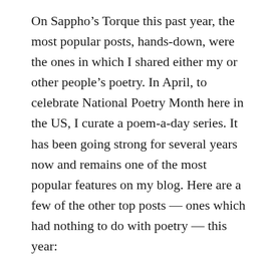On Sappho's Torque this past year, the most popular posts, hands-down, were the ones in which I shared either my or other people's poetry. In April, to celebrate National Poetry Month here in the US, I curate a poem-a-day series. It has been going strong for several years now and remains one of the most popular features on my blog. Here are a few of the other top posts — ones which had nothing to do with poetry — this year:
My Little Free Library
What We Say, Or Don't
The Pep Rally I Cannot Forget
Interestingly, that last one is from 2015, but it always